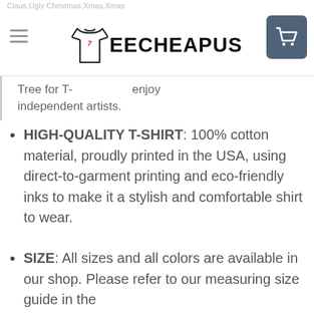TeeCheapus
Tree for T-...enjoy independent artists.
HIGH-QUALITY T-SHIRT: 100% cotton material, proudly printed in the USA, using direct-to-garment printing and eco-friendly inks to make it a stylish and comfortable shirt to wear.
SIZE: All sizes and all colors are available in our shop. Please refer to our measuring size guide in the pictures for an accurate measurement.